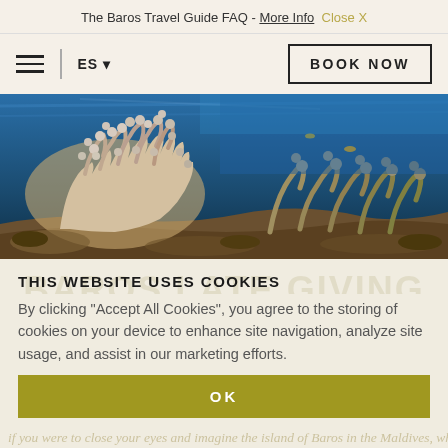The Baros Travel Guide FAQ - More Info  Close X
[Figure (screenshot): Navigation bar with hamburger menu, ES language selector, and BOOK NOW button]
[Figure (photo): Underwater coral reef photograph showing colorful coral formations and blue ocean water]
THIS WEBSITE USES COOKIES
By clicking "Accept All Cookies", you agree to the storing of cookies on your device to enhance site navigation, analyze site usage, and assist in our marketing efforts.
OK
if you were to close your eyes and imagine the island of Baros in the Maldives, what would come to